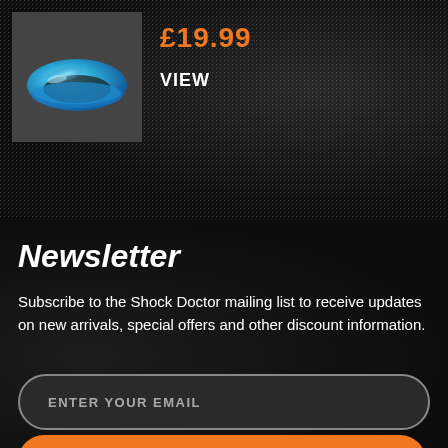[Figure (photo): Blue mouthguard product image on dark grey background]
£19.99
VIEW
Newsletter
Subscribe to the Shock Doctor mailing list to receive updates on new arrivals, special offers and other discount information.
ENTER YOUR EMAIL
SUBSCRIBE